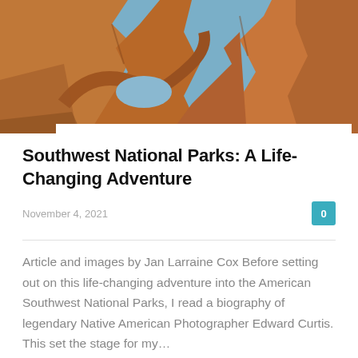[Figure (photo): Aerial/ground-level photo of red sandstone rock formations with a natural arch, blue sky visible through the arch opening. Arches National Park style landscape.]
Southwest National Parks: A Life-Changing Adventure
November 4, 2021
Article and images by Jan Larraine Cox Before setting out on this life-changing adventure into the American Southwest National Parks, I read a biography of legendary Native American Photographer Edward Curtis. This set the stage for my…
Read more